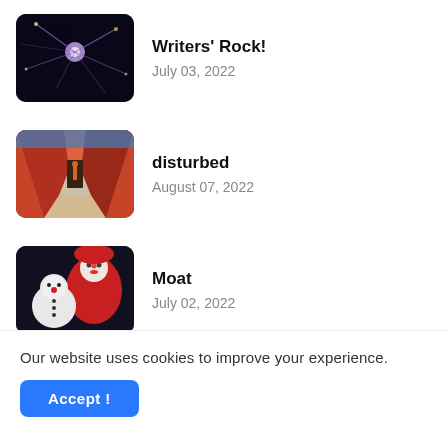Writers' Rock! — July 03, 2022
disturbed — August 07, 2022
Moat — July 02, 2022
The Wait — December 22, 2021
Our website uses cookies to improve your experience.
Accept !